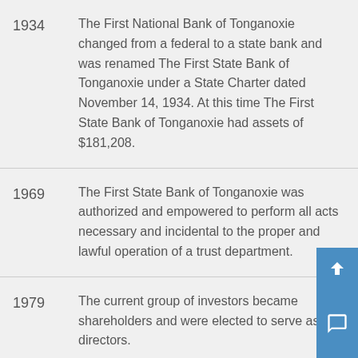1934 — The First National Bank of Tonganoxie changed from a federal to a state bank and was renamed The First State Bank of Tonganoxie under a State Charter dated November 14, 1934. At this time The First State Bank of Tonganoxie had assets of $181,208.
1969 — The First State Bank of Tonganoxie was authorized and empowered to perform all acts necessary and incidental to the proper and lawful operation of a trust department.
1979 — The current group of investors became shareholders and were elected to serve as directors.